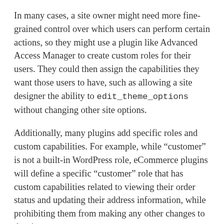In many cases, a site owner might need more fine-grained control over which users can perform certain actions, so they might use a plugin like Advanced Access Manager to create custom roles for their users. They could then assign the capabilities they want those users to have, such as allowing a site designer the ability to edit_theme_options without changing other site options.
Additionally, many plugins add specific roles and custom capabilities. For example, while “customer” is not a built-in WordPress role, eCommerce plugins will define a specific “customer” role that has custom capabilities related to viewing their order status and updating their address information, while prohibiting them from making any other changes to the site.
The ability to customize roles and capabilities using plugins is part of the power of using WordPress for a variety of applications, including eCommerce, learning...